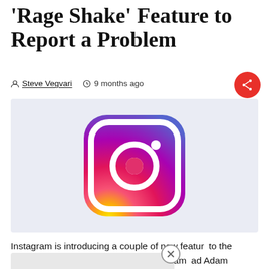'Rage Shake' Feature to Report a Problem
Steve Vegvari   9 months ago
[Figure (logo): Instagram logo on a light blue-grey background. The camera icon with gradient from purple/pink to orange/yellow.]
Instagram is introducing a couple of new features to the social media platform in the US. Instagram head Adam [obscured] will be im[obscured]